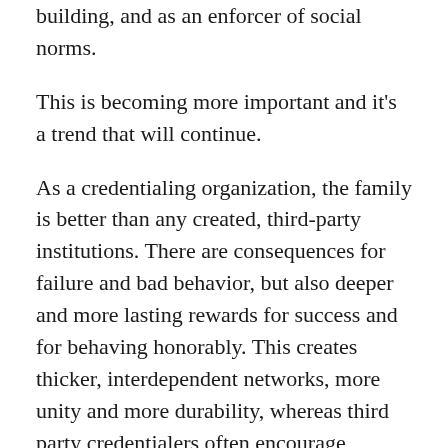building, and as an enforcer of social norms.
This is becoming more important and it's a trend that will continue.
As a credentialing organization, the family is better than any created, third-party institutions. There are consequences for failure and bad behavior, but also deeper and more lasting rewards for success and for behaving honorably. This creates thicker, interdependent networks, more unity and more durability, whereas third party credentialers often encourage atomization and optimize for comformism and encourage risk aversion. The problem with a rules-based order that is not subject to a higher authority like God and/or the family, is that it creates a society that is one massive, networked prisoner's dilemma in which every rational, self-interested player is incentivized to